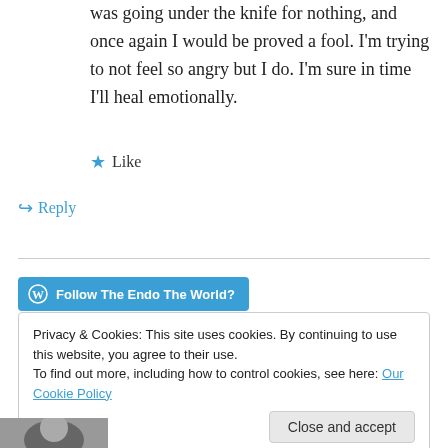was going under the knife for nothing, and once again I would be proved a fool. I'm trying to not feel so angry but I do. I'm sure in time I'll heal emotionally.
★ Like
↪ Reply
Follow The Endo The World?
Privacy & Cookies: This site uses cookies. By continuing to use this website, you agree to their use.
To find out more, including how to control cookies, see here: Our Cookie Policy
Close and accept